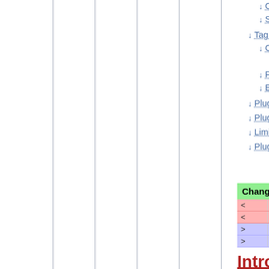↓ Other places for the tag interface
↓ Show tags without vote buttons
↓ Tag styles
↓ CSS Styles
↓ Search results CSS Styles
↓ Preventing link wrap
↓ Example styles used on twiki.org
↓ Plugin Settings
↓ Plugin Installation Instructions
↓ Limitations
↓ Plugin Info
|  |
| --- |
| Changed: |
| < |
| < |
| > |
| > |